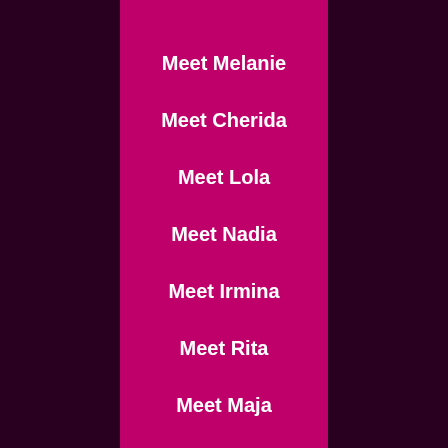Meet Melanie
Meet Cherida
Meet Lola
Meet Nadia
Meet Irmina
Meet Rita
Meet Maja
Meet Daniella
Meet Daniella + Ruby
Meet R…